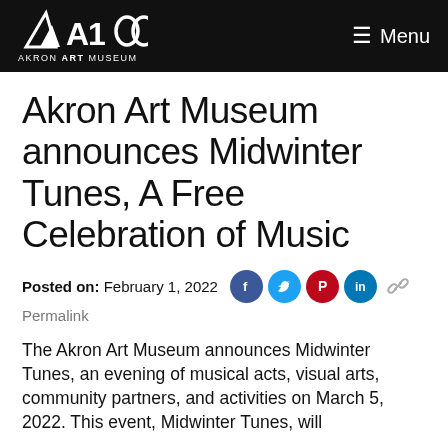AKRON ART MUSEUM — Menu
Akron Art Museum announces Midwinter Tunes, A Free Celebration of Music
Posted on: February 1, 2022
Permalink
The Akron Art Museum announces Midwinter Tunes, an evening of musical acts, visual arts, community partners, and activities on March 5, 2022. This event, Midwinter Tunes, will...